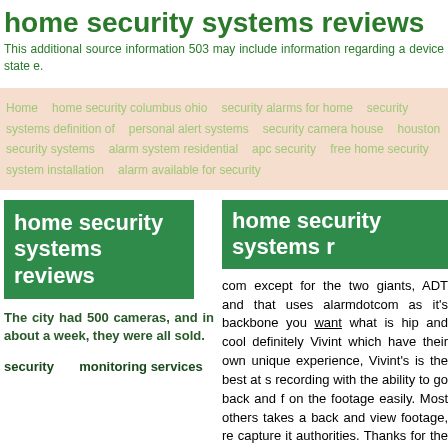home security systems reviews
This additional source information 503 may include information regarding a device state e.
Home   home security columbus ohio   security alarms for home   security systems definition of   personal alert systems   security camera house   houston security systems   alarm system residential   apc security   free home security system installation   alarm available for security
home security systems reviews
home security systems r
The city had 500 cameras, and in about a week, they were all sold.
security monitoring services
com except for the two giants, ADT and that uses alarmdotcom as it's backbone you want what is hip and cool definitely Vivint which have their own unique experience, Vivint's is the best at s recording with the ability to go back and f on the footage easily. Most others takes a back and view footage, re capture it authorities. Thanks for the coverage o buying a home security system this com smart devices is actually what I'm resear